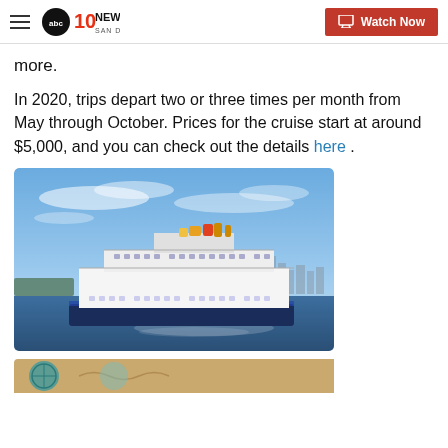ABC 10News San Diego | Watch Now
more.
In 2020, trips depart two or three times per month from May through October. Prices for the cruise start at around $5,000, and you can check out the details here .
[Figure (photo): A large white cruise ship with blue hull sailing on a river or harbor with a city skyline in the background under a blue sky with wispy clouds.]
[Figure (photo): Partial view of another image at the bottom of the page, showing what appears to be a map or travel-related graphic with teal/blue tones.]